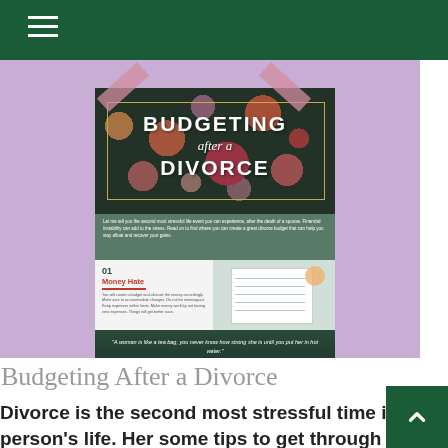[Figure (screenshot): A website page with a dark green navigation bar at the top with a hamburger menu icon, followed by a purple/lavender hero image area containing a pinned infographic titled 'BUDGETING after a DIVORCE'. The infographic shows flowers in the top section, a teal body section with small text, a white section with '01 Money Hule' heading and an image of a notebook, and a dark bottom section with a quote by Eleanor Roosevelt.]
Budgeting After a Divorce
Divorce is the second most stressful time in a person's life. Her some tips to get through it.